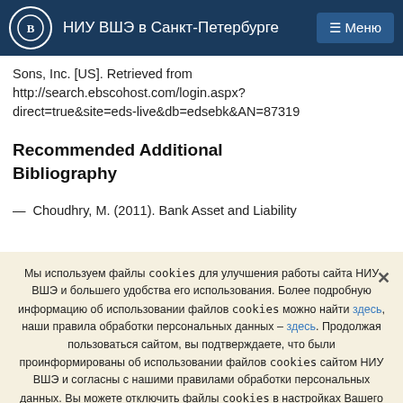НИУ ВШЭ в Санкт-Петербурге
Sons, Inc. [US]. Retrieved from http://search.ebscohost.com/login.aspx?direct=true&site=eds-live&db=edsebk&AN=87319
Recommended Additional Bibliography
— Choudhry, M. (2011). Bank Asset and Liability
Мы используем файлы cookies для улучшения работы сайта НИУ ВШЭ и большего удобства его использования. Более подробную информацию об использовании файлов cookies можно найти здесь, наши правила обработки персональных данных – здесь. Продолжая пользоваться сайтом, вы подтверждаете, что были проинформированы об использовании файлов cookies сайтом НИУ ВШЭ и согласны с нашими правилами обработки персональных данных. Вы можете отключить файлы cookies в настройках Вашего браузера.